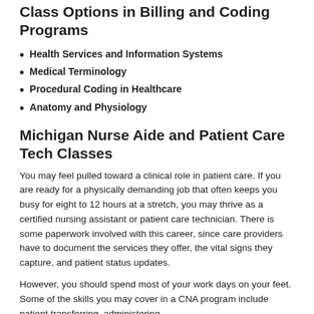Class Options in Billing and Coding Programs
Health Services and Information Systems
Medical Terminology
Procedural Coding in Healthcare
Anatomy and Physiology
Michigan Nurse Aide and Patient Care Tech Classes
You may feel pulled toward a clinical role in patient care. If you are ready for a physically demanding job that often keeps you busy for eight to 12 hours at a stretch, you may thrive as a certified nursing assistant or patient care technician. There is some paperwork involved with this career, since care providers have to document the services they offer, the vital signs they capture, and patient status updates.
However, you should spend most of your work days on your feet. Some of the skills you may cover in a CNA program include patient transferring, administering